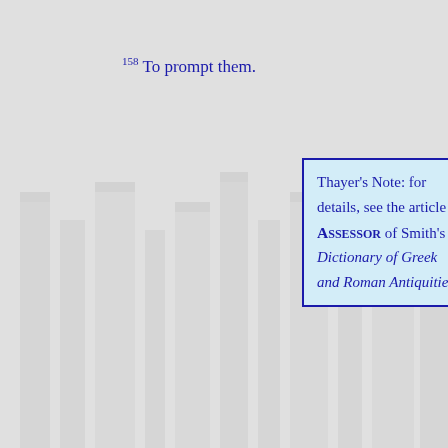158 To prompt them.
Thayer's Note: for details, see the article ASSESSOR of Smith's Dictionary of Greek and Roman Antiquities.
[Figure (illustration): Small green apple icon/decoration]
159 See Hdt. V.25; Val. Max. VI.3. ext. 3;